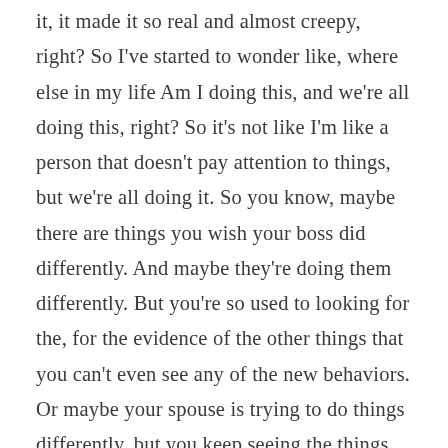it, it made it so real and almost creepy, right? So I've started to wonder like, where else in my life Am I doing this, and we're all doing this, right? So it's not like I'm like a person that doesn't pay attention to things, but we're all doing it. So you know, maybe there are things you wish your boss did differently. And maybe they're doing them differently. But you're so used to looking for the, for the evidence of the other things that you can't even see any of the new behaviors. Or maybe your spouse is trying to do things differently, but you keep seeing the things that they always did, right. And so as we get here to